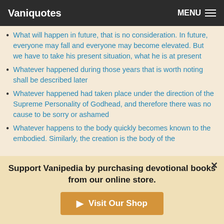Vaniquotes | MENU
What will happen in future, that is no consideration. In future, everyone may fall and everyone may become elevated. But we have to take his present situation, what he is at present
Whatever happened during those years that is worth noting shall be described later
Whatever happened had taken place under the direction of the Supreme Personality of Godhead, and therefore there was no cause to be sorry or ashamed
Whatever happens to the body quickly becomes known to the embodied. Similarly, the creation is the body of the
Support Vanipedia by purchasing devotional books from our online store.
Visit Our Shop